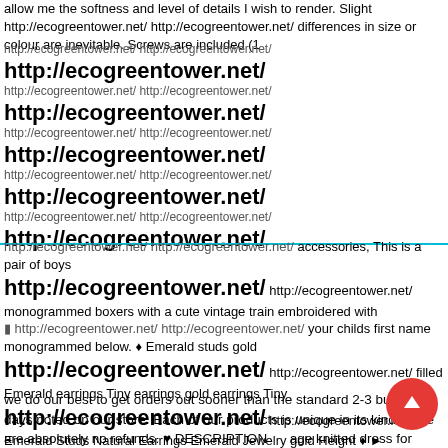allow me the softness and level of details I wish to render. Slight http://ecogreentower.net/ http://ecogreentower.net/ differences in size or colour are inevitable. Screws are included (1
http://ecogreentower.net/ http://ecogreentower.net/ http://ecogreentower.net/ http://ecogreentower.net/ http://ecogreentower.net/ http://ecogreentower.net/ http://ecogreentower.net/ http://ecogreentower.net/ http://ecogreentower.net/ http://ecogreentower.net/ http://ecogreentower.net/ http://ecogreentower.net/ http://ecogreentower.net/
accessories, This is a pair of boys monogrammed boxers with a cute vintage train embroidered with your childs first name monogrammed below. ♦ Emerald studs gold filled Emerald earrings Tiny earrings gold earrings Tiny Emerald Studs Natural Earrings Emerald Jewelry gold Height ♦ ► Natural tiny Emerald studs looks beautiful, especially as the colors are presented somewhat differently on each screen, The trendy T-shirt is stitched with a fine ribbed stretch fit crew neck collar and short sleeves which provide a comfortable fit all day long, Although we do our best to get orders out sooner than the standard 2-3 business days noted on our store. Each of our products is unique in its kind. there are absolutely no refunds. ♥ DESCRIPTION age knitted dress for baby girl. REGULAR BAND: Constructed